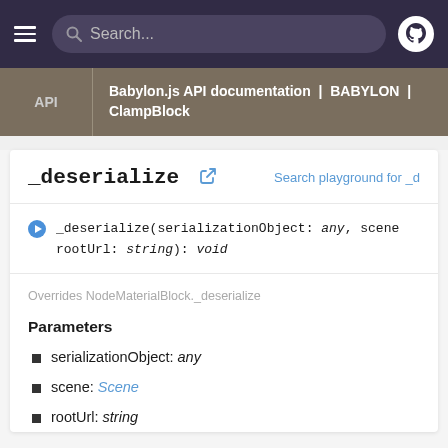Search...
API | Babylon.js API documentation | BABYLON | ClampBlock
_deserialize
Search playground for _d
_deserialize(serializationObject: any, scene: ..., rootUrl: string): void
Overrides NodeMaterialBlock._deserialize
Parameters
serializationObject: any
scene: Scene
rootUrl: string